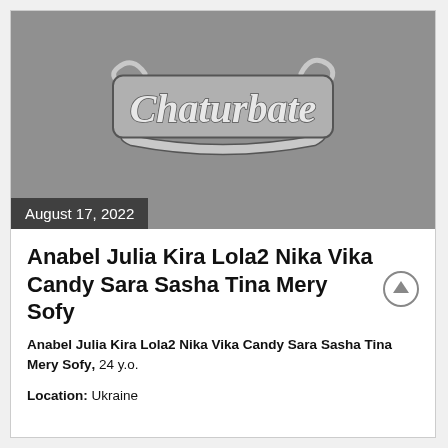[Figure (logo): Chaturbate logo on grey background]
August 17, 2022
Anabel Julia Kira Lola2 Nika Vika Candy Sara Sasha Tina Mery Sofy
Anabel Julia Kira Lola2 Nika Vika Candy Sara Sasha Tina Mery Sofy, 24 y.o.
Location: Ukraine